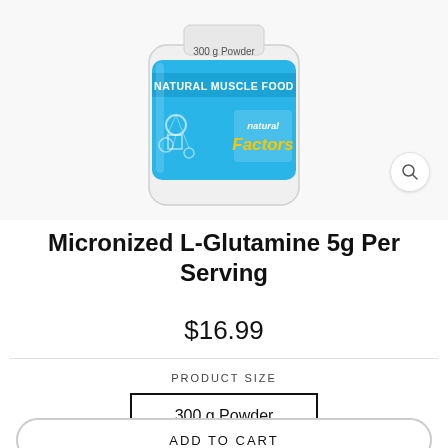[Figure (photo): Natural Factors Micronized L-Glutamine 300g Powder supplement bottle with blue label reading NATURAL MUSCLE FOOD and natural Factors logo with molecular design graphics]
Micronized L-Glutamine 5g Per Serving
$16.99
PRODUCT SIZE
300 g Powder
ADD TO CART